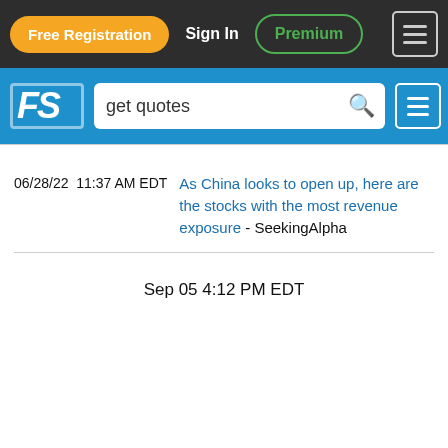Free Registration  Sign In  Premium
[Figure (screenshot): FS logo with search bar showing 'get quotes']
06/28/22  11:37 AM EDT  As China looks to open up, here are the stocks with the most revenue exposure - SeekingAlpha
Sep 05 4:12 PM EDT